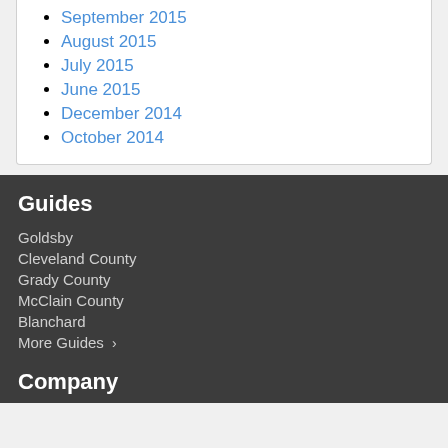September 2015
August 2015
July 2015
June 2015
December 2014
October 2014
Guides
Goldsby
Cleveland County
Grady County
McClain County
Blanchard
More Guides ›
Company